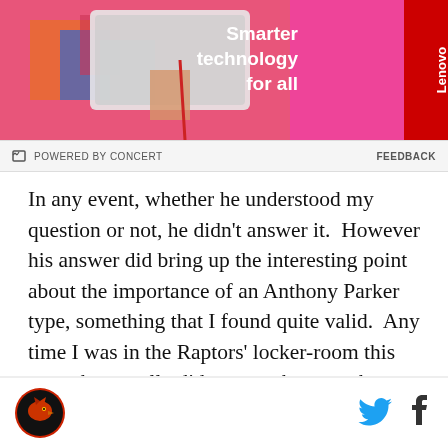[Figure (photo): Advertisement banner: person holding a laptop against a pink background with 'Smarter technology for all' text and Lenovo branding on red sidebar]
POWERED BY CONCERT   FEEDBACK
In any event, whether he understood my question or not, he didn't answer it.  However his answer did bring up the interesting point about the importance of an Anthony Parker type, something that I found quite valid.  Any time I was in the Raptors' locker-room this year, there really did seem to be a gap between the International players and the North American ones.  Not in terms of actual animosity, but just a bit of a communication gap.  For instance I'd roll in and Turk and Marco would be stretching and joking around.  Or
Toronto Raptors logo | Twitter | Facebook